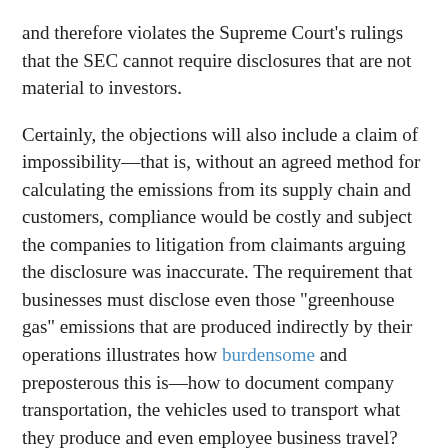and therefore violates the Supreme Court's rulings that the SEC cannot require disclosures that are not material to investors.
Certainly, the objections will also include a claim of impossibility—that is, without an agreed method for calculating the emissions from its supply chain and customers, compliance would be costly and subject the companies to litigation from claimants arguing the disclosure was inaccurate. The requirement that businesses must disclose even those "greenhouse gas" emissions that are produced indirectly by their operations illustrates how burdensome and preposterous this is—how to document company transportation, the vehicles used to transport what they produce and even employee business travel?
In the face of galloping inflation and rapidly rising energy costs, this proposal should be a non-starter in a rational world. It's flatly ridiculous. Add to the mix of considerations, the fact that the suicidal energy policies of the Europeans and the Biden